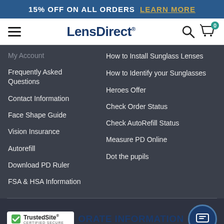15% OFF ON ALL ORDERS  LEARN MORE
[Figure (screenshot): LensDirect website navigation bar with hamburger menu, logo, search icon, and cart icon showing 0 items]
My Account
Frequently Asked Questions
Contact Information
Face Shape Guide
Vision Insurance
Autorefill
Download PD Ruler
FSA & HSA Information
How to Install Sunglass Lenses
How to Identify your Sunglasses
Heroes Offer
Check Order Status
Check AutoRefill Status
Measure PD Online
Dot the pupils
ORATE INFORMATION